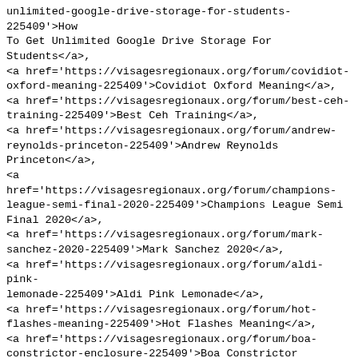unlimited-google-drive-storage-for-students-225409'>How To Get Unlimited Google Drive Storage For Students</a>, <a href='https://visagesregionaux.org/forum/covidiot-oxford-meaning-225409'>Covidiot Oxford Meaning</a>, <a href='https://visagesregionaux.org/forum/best-ceh-training-225409'>Best Ceh Training</a>, <a href='https://visagesregionaux.org/forum/andrew-reynolds-princeton-225409'>Andrew Reynolds Princeton</a>, <a href='https://visagesregionaux.org/forum/champions-league-semi-final-2020-225409'>Champions League Semi Final 2020</a>, <a href='https://visagesregionaux.org/forum/mark-sanchez-2020-225409'>Mark Sanchez 2020</a>, <a href='https://visagesregionaux.org/forum/aldi-pink-lemonade-225409'>Aldi Pink Lemonade</a>, <a href='https://visagesregionaux.org/forum/hot-flashes-meaning-225409'>Hot Flashes Meaning</a>, <a href='https://visagesregionaux.org/forum/boa-constrictor-enclosure-225409'>Boa Constrictor Enclosure</a>, <a href='https://visagesregionaux.org/forum/first-love-chords-antioch-225409'>First Love Chords Antioch</a>, <a href='https://visagesregionaux.org/forum/school-ties-full-movie-123movies-225409'>School Ties Full Movie 123movies</a>, <a href='https://visagesregionaux.org/forum/berkeley-mph-acceptance-rate-225409'>Berkeley Mph Acceptance Rate</a>, <a